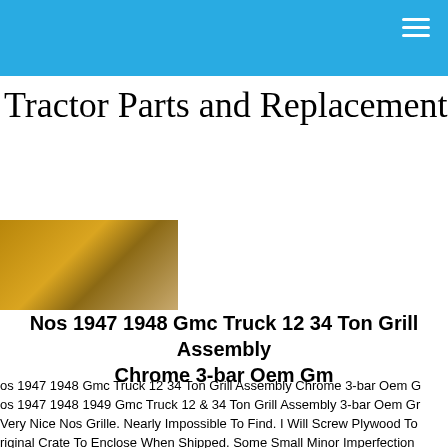Tractor Parts and Replacement
[Figure (photo): Small thumbnail photo of a tractor or related part, brownish/golden tones]
Nos 1947 1948 Gmc Truck 12 34 Ton Grill Assembly Chrome 3-bar Oem Gm
os 1947 1948 Gmc Truck 12 34 Ton Grill Assembly Chrome 3-bar Oem G
os 1947 1948 1949 Gmc Truck 12 & 34 Ton Grill Assembly 3-bar Oem Gr Very Nice Nos Grille. Nearly Impossible To Find. I Will Screw Plywood To riginal Crate To Enclose When Shipped. Some Small Minor Imperfection You Can Always Call With Questions. 5033120983